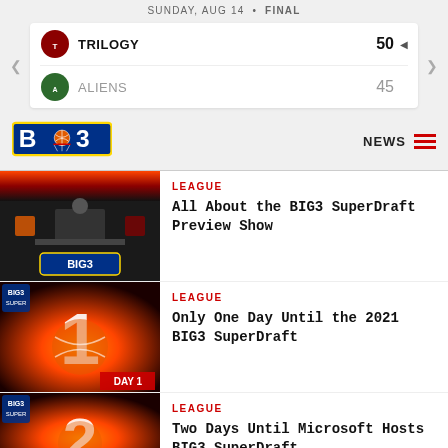SUNDAY, AUG 14 • FINAL
| Team | Score |  |
| --- | --- | --- |
| TRILOGY | 50 | ◄ |
| ALIENS | 45 |  |
[Figure (logo): BIG3 basketball league logo]
NEWS
[Figure (photo): BIG3 SuperDraft Preview Show thumbnail showing a person at a desk with team logos]
LEAGUE
All About the BIG3 SuperDraft Preview Show
[Figure (photo): Countdown graphic showing number 1 with basketball and fire, labeled DAY 1]
LEAGUE
Only One Day Until the 2021 BIG3 SuperDraft
[Figure (photo): Countdown graphic showing number 2 with basketball and fire]
LEAGUE
Two Days Until Microsoft Hosts BIG3 SuperDraft